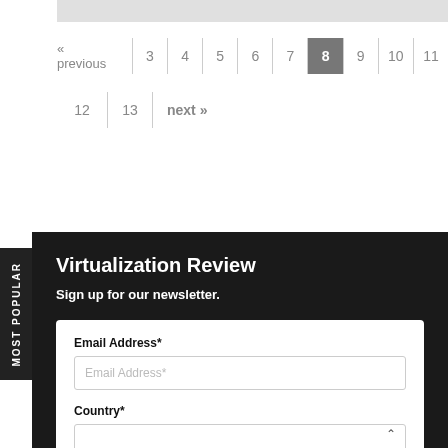« previous  3  4  5  6  7  8  9  10  11
12  13  next »
Virtualization Review
Sign up for our newsletter.
Email Address*
Country*